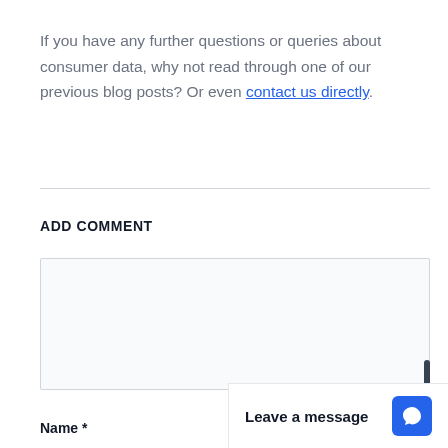If you have any further questions or queries about consumer data, why not read through one of our previous blog posts? Or even contact us directly.
ADD COMMENT
Name *
Leave a message